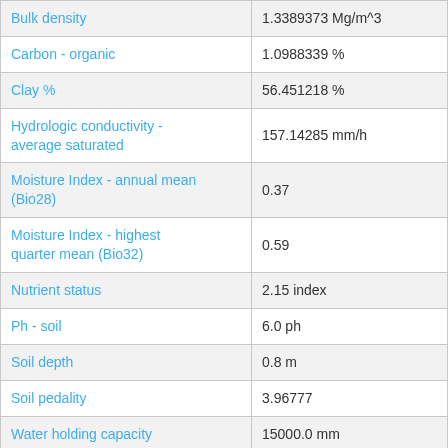| Property | Value |
| --- | --- |
| Bulk density | 1.3389373 Mg/m^3 |
| Carbon - organic | 1.0988339 % |
| Clay % | 56.451218 % |
| Hydrologic conductivity - average saturated | 157.14285 mm/h |
| Moisture Index - annual mean (Bio28) | 0.37 |
| Moisture Index - highest quarter mean (Bio32) | 0.59 |
| Nutrient status | 2.15 index |
| Ph - soil | 6.0 ph |
| Soil depth | 0.8 m |
| Soil pedality | 3.96777 |
| Water holding capacity | 15000.0 mm |
| Water stress index - month max | 56.378994 |
| Weathering Intensity V2 | 4.09943 Weathering Intensity |